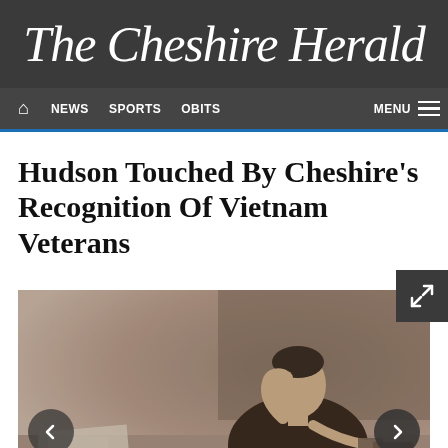The Cheshire Herald
🏠 NEWS  SPORTS  OBITS  MENU
Hudson Touched By Cheshire's Recognition Of Vietnam Veterans
[Figure (photo): Black and white vintage photograph of a young man sitting at a desk, resting his chin on his hand in a contemplative pose, with papers and objects on the desk in front of him.]